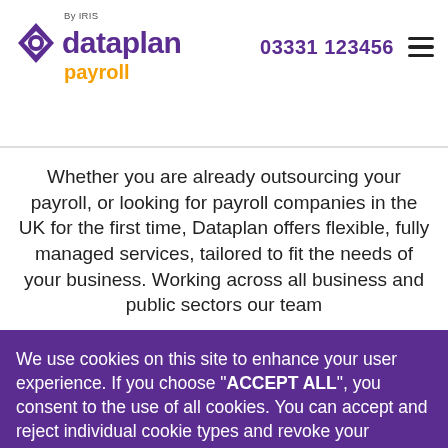By IRIS — dataplan payroll — 03331 123456
Whether you are already outsourcing your payroll, or looking for payroll companies in the UK for the first time, Dataplan offers flexible, fully managed services, tailored to fit the needs of your business. Working across all business and public sectors our team
We use cookies on this site to enhance your user experience. If you choose "ACCEPT ALL", you consent to the use of all cookies. You can accept and reject individual cookie types and revoke your consent for the future at any time under "Settings".
Cookie Policy
SETTINGS
ACCEPT ALL